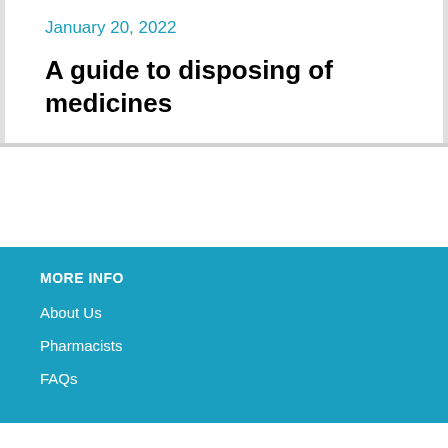January 20, 2022
A guide to disposing of medicines
MORE INFO
About Us
Pharmacists
FAQs